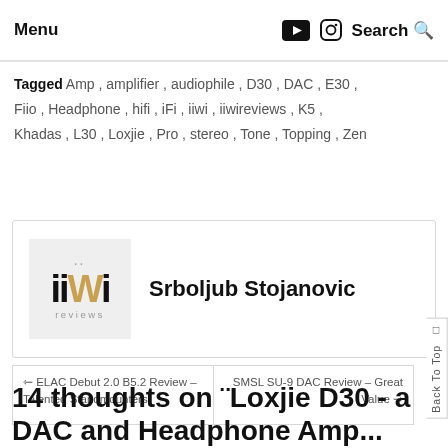Menu  Search
Tagged Amp, amplifier, audiophile, D30, DAC, E30, Fiio, Headphone, hifi, iFi, iiwi, iiwireviews, K5, Khadas, L30, Loxjie, Pro, stereo, Tone, Topping, Zen
Srboljub Stojanovic
← ELAC Debut 2.0 B5.2 Review – Talented Standmounters   SMSL SU-9 DAC Review – Great Value →
14 thoughts on ¨Loxjie D30 - a DAC and Headphone Amp...